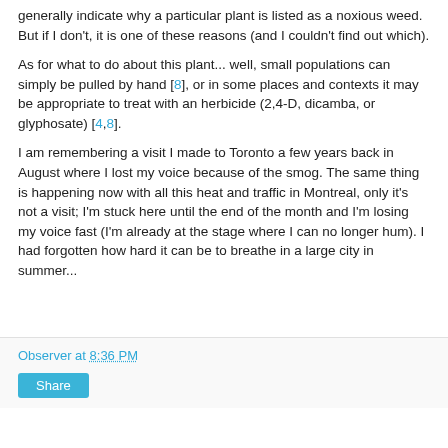generally indicate why a particular plant is listed as a noxious weed. But if I don't, it is one of these reasons (and I couldn't find out which).
As for what to do about this plant... well, small populations can simply be pulled by hand [8], or in some places and contexts it may be appropriate to treat with an herbicide (2,4-D, dicamba, or glyphosate) [4,8].
I am remembering a visit I made to Toronto a few years back in August where I lost my voice because of the smog. The same thing is happening now with all this heat and traffic in Montreal, only it's not a visit; I'm stuck here until the end of the month and I'm losing my voice fast (I'm already at the stage where I can no longer hum). I had forgotten how hard it can be to breathe in a large city in summer...
Observer at 8:36 PM